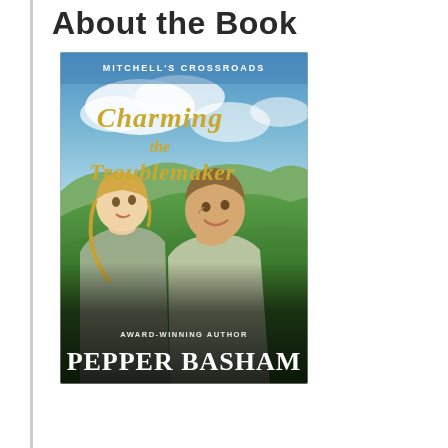About the Book
[Figure (illustration): Book cover for 'Charming the Troublemaker' from the Mitchell's Crossroads series by Pepper Basham (Award-Winning Author). The cover shows a man and woman smiling at each other against a backdrop of blue sky and green rolling hills. The title is displayed in gold script text at the top, with the series name 'Mitchell's Crossroads' in small white text above it. The author's name 'PEPPER BASHAM' appears in large white serif text at the bottom, with 'AWARD-WINNING AUTHOR' in smaller text above it.]